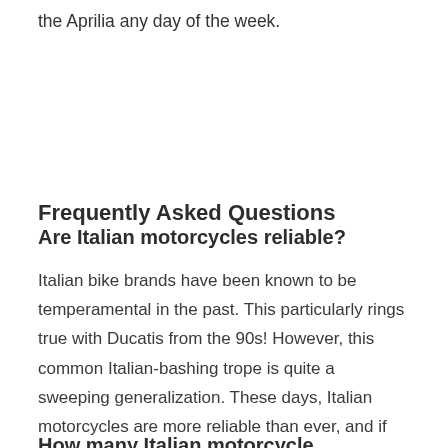the Aprilia any day of the week.
Frequently Asked Questions
Are Italian motorcycles reliable?
Italian bike brands have been known to be temperamental in the past. This particularly rings true with Ducatis from the 90s! However, this common Italian-bashing trope is quite a sweeping generalization. These days, Italian motorcycles are more reliable than ever, and if properly maintained they'll continue to be as reliable as you'd expect other motorcycles to be. It's all down to maintenance.
How many Italian motorcycle dealerships are there